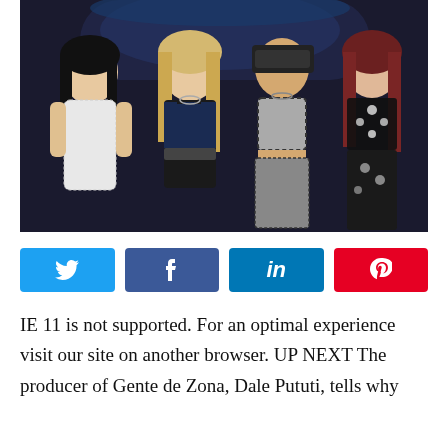[Figure (photo): Four young women (K-pop group BLACKPINK members) posing together at a night event, wearing stylish outfits ranging from white lace to black embellished ensembles, against a dark background with umbrella visible above.]
[Figure (infographic): Social media share buttons row: Twitter (blue), Facebook (dark blue), LinkedIn (medium blue), Pinterest (red), each with respective icons.]
IE 11 is not supported. For an optimal experience visit our site on another browser. UP NEXT The producer of Gente de Zona, Dale Pututi, tells why